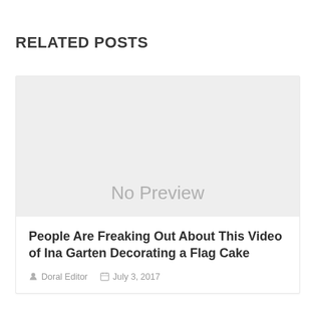RELATED POSTS
[Figure (other): No Preview placeholder image — light gray rectangle with 'No Preview' text in gray]
People Are Freaking Out About This Video of Ina Garten Decorating a Flag Cake
Doral Editor   July 3, 2017